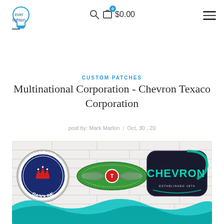ever lighten | $0.00
CUSTOM PATCHES
Multinational Corporation - Chevron Texaco Corporation
post by: Mark Marlon  |  Oct, 30 , 20
[Figure (photo): Three embroidered patches on a white brick wall background: Standard Gasoline circular patch, Texaco winged oval patch, and Chevron retro-style patch. Teal paint splash at the bottom of the image.]